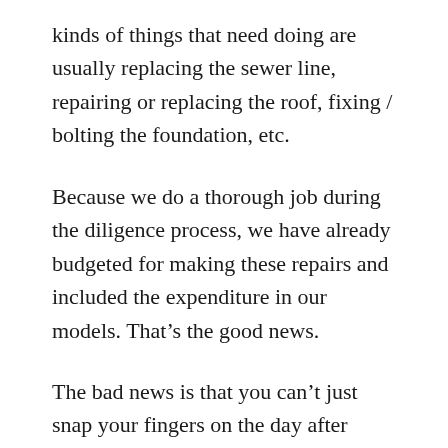kinds of things that need doing are usually replacing the sewer line, repairing or replacing the roof, fixing / bolting the foundation, etc.
Because we do a thorough job during the diligence process, we have already budgeted for making these repairs and included the expenditure in our models. That’s the good news.
The bad news is that you can’t just snap your fingers on the day after closing, have all the problems disappear, and have the budgeted quantity of money vanish from your bank account.